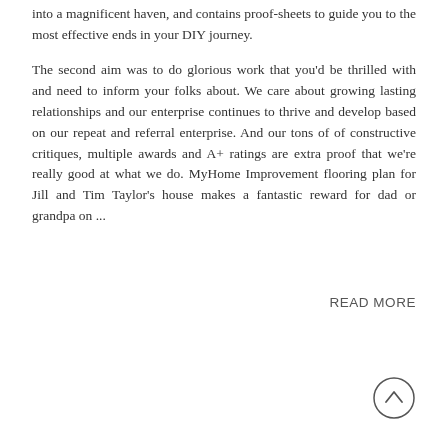into a magnificent haven, and contains proof-sheets to guide you to the most effective ends in your DIY journey.
The second aim was to do glorious work that you'd be thrilled with and need to inform your folks about. We care about growing lasting relationships and our enterprise continues to thrive and develop based on our repeat and referral enterprise. And our tons of of constructive critiques, multiple awards and A+ ratings are extra proof that we're really good at what we do. MyHome Improvement flooring plan for Jill and Tim Taylor's house makes a fantastic reward for dad or grandpa on ...
READ MORE